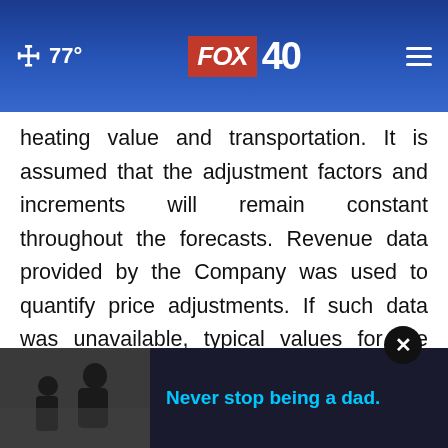🌙 77°  FOX 40  ☰
heating value and transportation. It is assumed that the adjustment factors and increments will remain constant throughout the forecasts. Revenue data provided by the Company was used to quantify price adjustments. If such data was unavailable, typical values for the area were used to estimate price adjustments. Risks of political and economic uncertainties could affect future results and could cause results to differ materially from those expressed in this evalu[ation]
[Figure (screenshot): Ad banner at bottom: black background with photo of father and child, cyan text reading 'Never stop being a dad.']